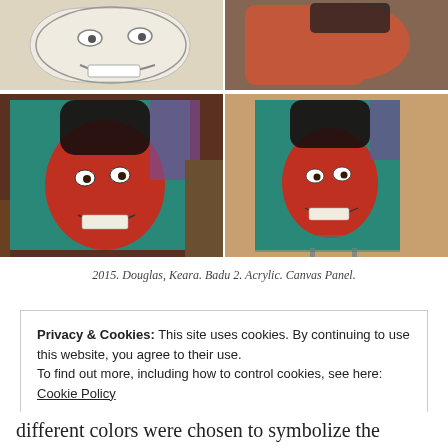[Figure (photo): A 2x2 grid of four photos showing artwork in progress. Top left: pencil sketch of a smiling face. Top right: partial view of artwork/portrait. Bottom left: acrylic painting of a red-faced figure on teal canvas panel, close up. Bottom right: same painting from further away showing full canvas on teal background.]
2015. Douglas, Keara. Badu 2. Acrylic. Canvas Panel.
Privacy & Cookies: This site uses cookies. By continuing to use this website, you agree to their use.
To find out more, including how to control cookies, see here: Cookie Policy
Close and accept
different colors were chosen to symbolize the